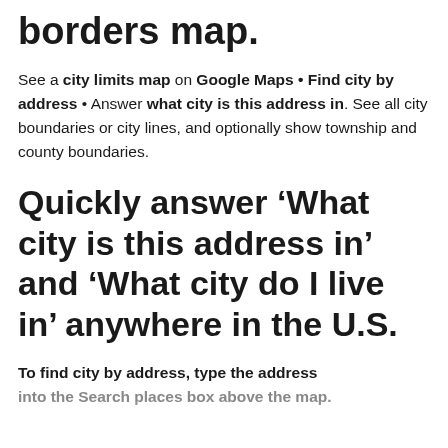borders map.
See a city limits map on Google Maps • Find city by address • Answer what city is this address in. See all city boundaries or city lines, and optionally show township and county boundaries.
Quickly answer 'What city is this address in' and 'What city do I live in' anywhere in the U.S.
To find city by address, type the address into the Search places box above the map.